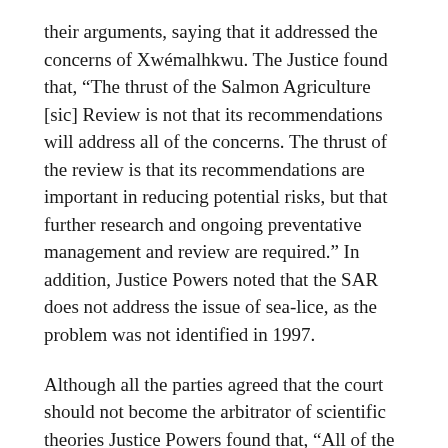their arguments, saying that it addressed the concerns of Xwémalhkwu. The Justice found that, “The thrust of the Salmon Agriculture [sic] Review is not that its recommendations will address all of the concerns. The thrust of the review is that its recommendations are important in reducing potential risks, but that further research and ongoing preventative management and review are required.” In addition, Justice Powers noted that the SAR does not address the issue of sea-lice, as the problem was not identified in 1997.
Although all the parties agreed that the court should not become the arbitrator of scientific theories Justice Powers found that, “All of the scientists and panels involved in studying the issues confirm that there are serious gaps in knowledge and that research is needed to fill those gaps.”
The Xwemalhkwu First Nation and the Georgia Strait Alliance signed a protocol agreement in 2004 outlining